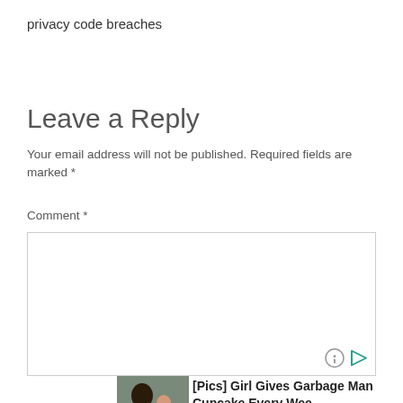privacy code breaches
Leave a Reply
Your email address will not be published. Required fields are marked *
Comment *
[Figure (screenshot): Empty comment text area input box]
[Figure (infographic): Ad: [Pics] Girl Gives Garbage Man Cupcake Every Wee... Sponsored | HealthyGem with a photo of a man and young girl]
[Pics] Girl Gives Garbage Man Cupcake Every Wee... Sponsored | HealthyGem